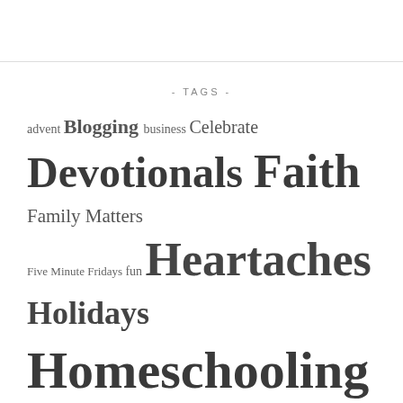- TAGS -
advent Blogging business Celebrate Devotionals Faith Family Matters Five Minute Fridays fun Heartaches Holidays Homeschooling hope Hot Topics joy laughter Life Decisions listening metaphors Missions Mothering mud musings No More